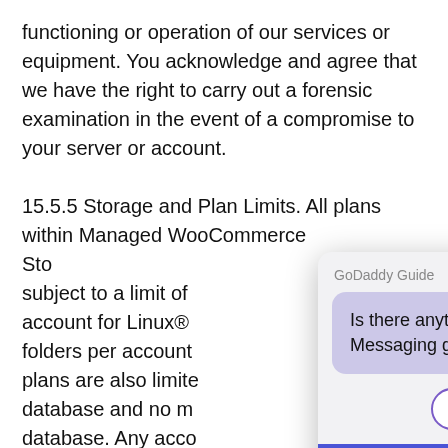functioning or operation of our services or equipment. You acknowledge and agree that we have the right to carry out a forensic examination in the event of a compromise to your server or account.
15.5.5 Storage and Plan Limits. All plans within Managed WooCommerce Sto... subject to a limit of ... account for Linux®... folders per account... plans are also limite... database and no m... database. Any acco... limits may be issue... be required to redu... folders, tables or gi... be temporarily or permanently suspen... discretion. All Linux hosting plans ar... following limitations: no more than a) 25% of one CPU
[Figure (screenshot): GoDaddy Guide chat popup overlaying the document text. The popup has a light gray background, shows a purple speech bubble with text 'Is there anything we can help with? Messaging guides are standing by.', a 'Start Chatting' button with purple border, a blue/purple footer bar with 'GoDaddy guides' text, and a 'Contact Us' button in the bottom right corner with a purple border.]